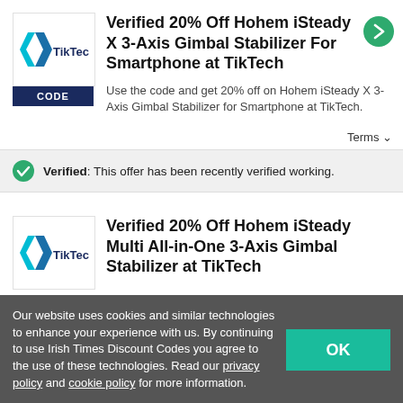Verified 20% Off Hohem iSteady X 3-Axis Gimbal Stabilizer For Smartphone at TikTech
Use the code and get 20% off on Hohem iSteady X 3-Axis Gimbal Stabilizer for Smartphone at TikTech.
Terms ∨
Verified: This offer has been recently verified working.
Verified 20% Off Hohem iSteady Multi All-in-One 3-Axis Gimbal Stabilizer at TikTech
Our website uses cookies and similar technologies to enhance your experience with us. By continuing to use Irish Times Discount Codes you agree to the use of these technologies. Read our privacy policy and cookie policy for more information.